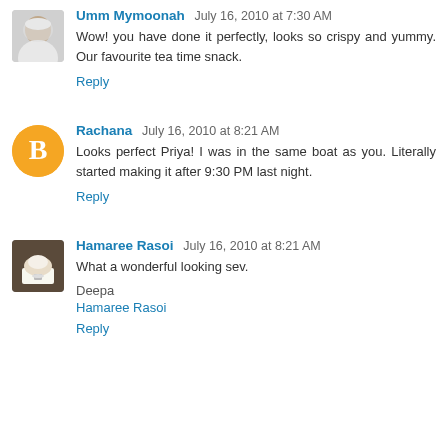Umm Mymoonah July 16, 2010 at 7:30 AM
Wow! you have done it perfectly, looks so crispy and yummy. Our favourite tea time snack.
Reply
Rachana July 16, 2010 at 8:21 AM
Looks perfect Priya! I was in the same boat as you. Literally started making it after 9:30 PM last night.
Reply
Hamaree Rasoi July 16, 2010 at 8:21 AM
What a wonderful looking sev.
Deepa
Hamaree Rasoi
Reply